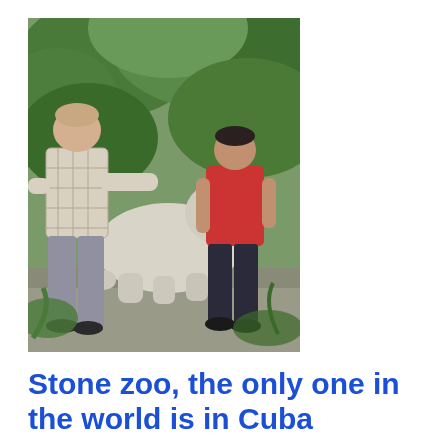[Figure (photo): Two men standing beside a large white stone lion sculpture outdoors in a lush green tropical setting. The man on the left wears a plaid shirt and grey trousers; the man on the right wears a red t-shirt and dark trousers.]
Stone zoo, the only one in the world is in Cuba